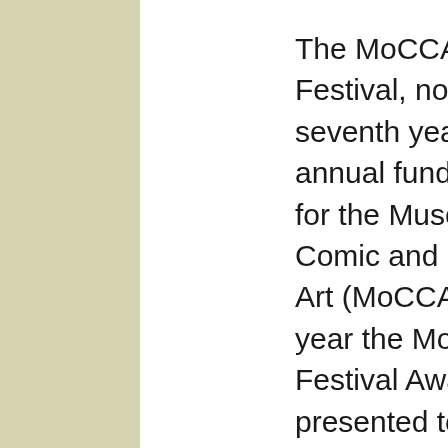The MoCCA Art Festival, now in its seventh year, is an annual fundraiser for the Museum of Comic and Cartoon Art (MoCCA). Each year the MoCCA Art Festival Award is presented to a creative figure whose work has elevated the cartoon arts. The Award was